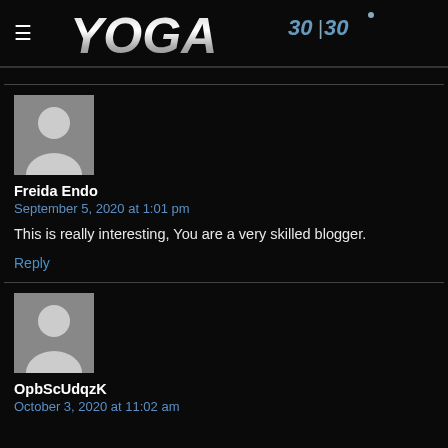YOGA 30|30
[Figure (illustration): Default avatar placeholder image - grey silhouette of a person on grey background, for user Freida Endo]
Freida Endo
September 5, 2020 at 1:01 pm
This is really interesting, You are a very skilled blogger.
Reply
[Figure (illustration): Default avatar placeholder image - grey silhouette of a person on grey background, for user OpbScUdqzK]
OpbScUdqzK
October 3, 2020 at 11:02 am